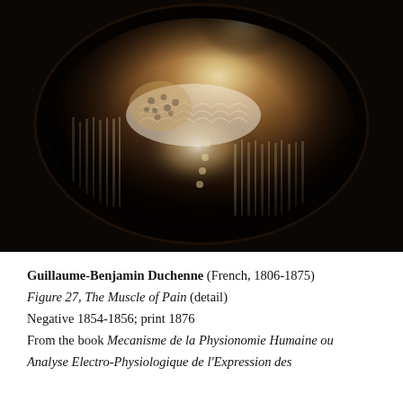[Figure (photo): Sepia-toned historical photograph showing a person (torso and lower face visible) wearing an ornate lace collar and patterned dress, presented in an oval vignette format on a dark background. The photograph is from Duchenne's study of facial muscles.]
Guillaume-Benjamin Duchenne (French, 1806-1875)
Figure 27, The Muscle of Pain (detail)
Negative 1854-1856; print 1876
From the book Mecanisme de la Physionomie Humaine ou Analyse Electro-Physiologique de l'Expression des